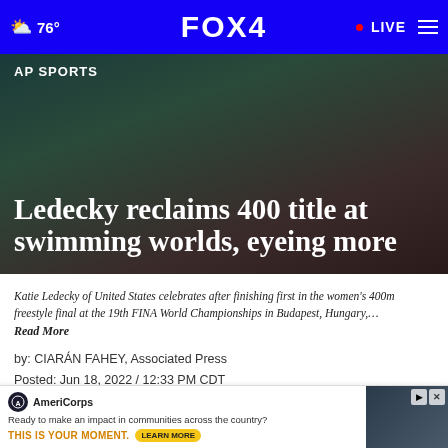76° FOX 4 LIVE
AP SPORTS
Ledecky reclaims 400 title at swimming worlds, eyeing more
Katie Ledecky of United States celebrates after finishing first in the women's 400m freestyle final at the 19th FINA World Championships in Budapest, Hungary,… Read More
by: CIARÁN FAHEY, Associated Press
Posted: Jun 18, 2022 / 12:33 PM CDT
Updated: Jun 18, 2022 / 02:42 PM CDT
SHARE
[Figure (screenshot): AmeriCorps advertisement banner: Ready to make an impact in communities across the country? THIS IS YOUR MOMENT. LEARN MORE]